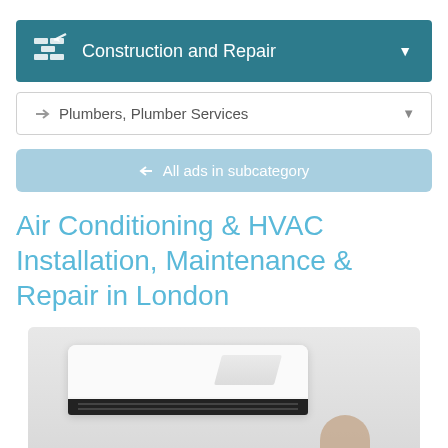Construction and Repair
Plumbers, Plumber Services
All ads in subcategory
Air Conditioning & HVAC Installation, Maintenance & Repair in London
[Figure (photo): Photo of a wall-mounted air conditioning unit (HVAC system) installed on a light-colored wall, with a person partially visible below]